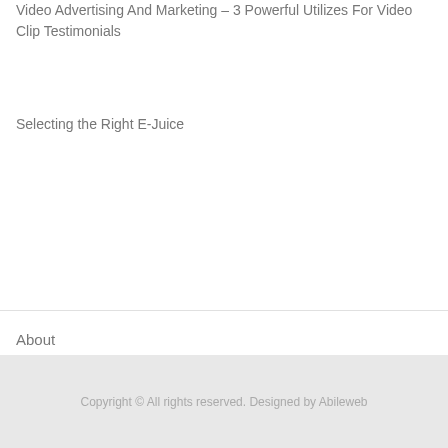Video Advertising And Marketing – 3 Powerful Utilizes For Video Clip Testimonials
Selecting the Right E-Juice
About
Contact
Privacy Policy
Copyright © All rights reserved. Designed by Abileweb